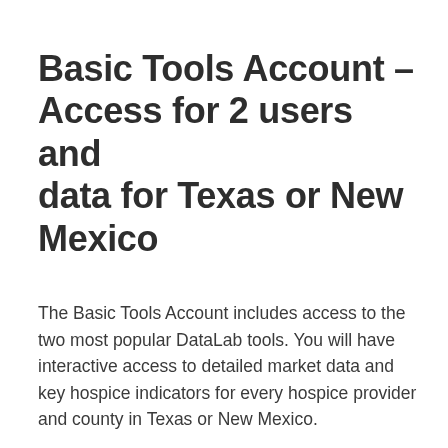Basic Tools Account – Access for 2 users and data for Texas or New Mexico
The Basic Tools Account includes access to the two most popular DataLab tools. You will have interactive access to detailed market data and key hospice indicators for every hospice provider and county in Texas or New Mexico.